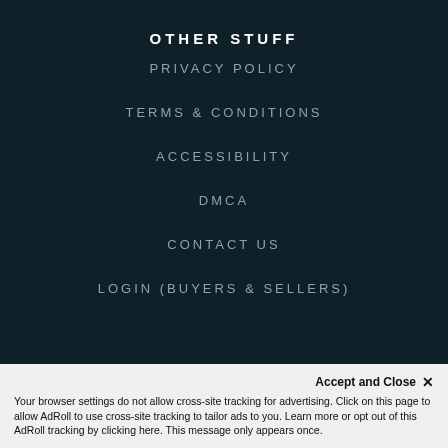OTHER STUFF
PRIVACY POLICY
TERMS & CONDITIONS
ACCESSIBILITY
DMCA
CONTACT US
LOGIN (BUYERS & SELLERS)
DESKTOP MENU
BUY
SELL
Accept and Close ✕
Your browser settings do not allow cross-site tracking for advertising. Click on this page to allow AdRoll to use cross-site tracking to tailor ads to you. Learn more or opt out of this AdRoll tracking by clicking here. This message only appears once.